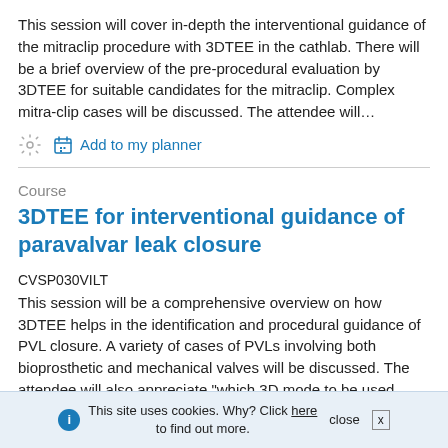This session will cover in-depth the interventional guidance of the mitraclip procedure with 3DTEE in the cathlab. There will be a brief overview of the pre-procedural evaluation by 3DTEE for suitable candidates for the mitraclip. Complex mitra-clip cases will be discussed. The attendee will...
Add to my planner
Course
3DTEE for interventional guidance of paravalvar leak closure
CVSP030VILT
This session will be a comprehensive overview on how 3DTEE helps in the identification and procedural guidance of PVL closure. A variety of cases of PVLs involving both bioprosthetic and mechanical valves will be discussed. The attendee will also appreciate "which 3D mode to be used when...
This site uses cookies. Why? Click here to find out more. close X